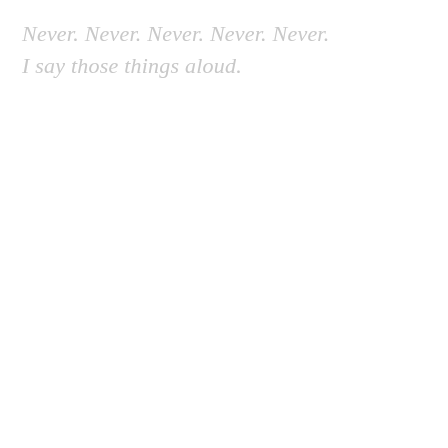Never. Never. Never. Never. Never.
I say those things aloud.